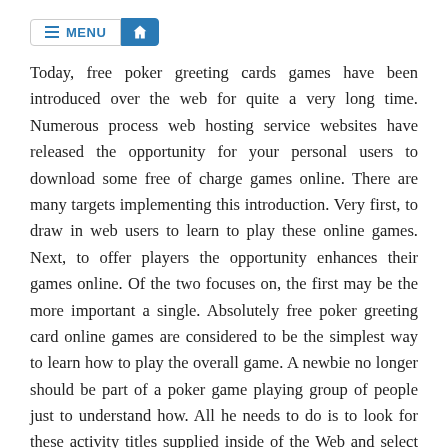MENU [home icon]
Today, free poker greeting cards games have been introduced over the web for quite a very long time. Numerous process web hosting service websites have released the opportunity for your personal users to download some free of charge games online. There are many targets implementing this introduction. Very first, to draw in web users to learn to play these online games. Next, to offer players the opportunity enhances their games online. Of the two focuses on, the first may be the more important a single. Absolutely free poker greeting card online games are considered to be the simplest way to learn how to play the overall game. A newbie no longer should be part of a poker game playing group of people just to understand how. All he needs to do is to look for these activity titles supplied inside of the Web and select in the assortment presented which activity he would like to get involved in.